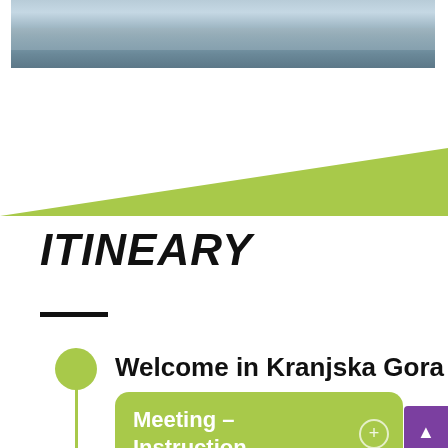[Figure (photo): Horizontal photo strip showing a water/lake surface with horizontal striped texture in blue-grey tones]
[Figure (illustration): Lime green triangle/diagonal shape used as a decorative divider across the page]
ITINEARY
Welcome in Kranjska Gora
Meeting – Instruction